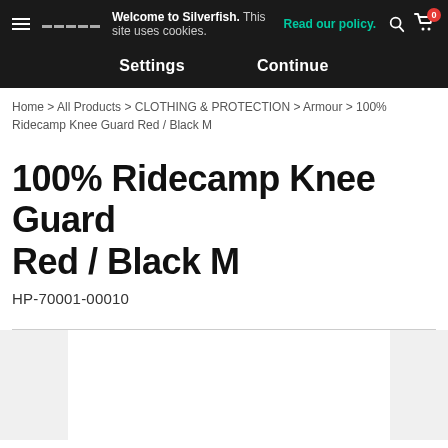Welcome to Silverfish. This site uses cookies. Read our policy. Settings Continue
Home > All Products > CLOTHING & PROTECTION > Armour > 100% Ridecamp Knee Guard Red / Black M
100% Ridecamp Knee Guard Red / Black M
HP-70001-00010
[Figure (photo): Product image area with left and right navigation arrows, image region mostly empty/white]